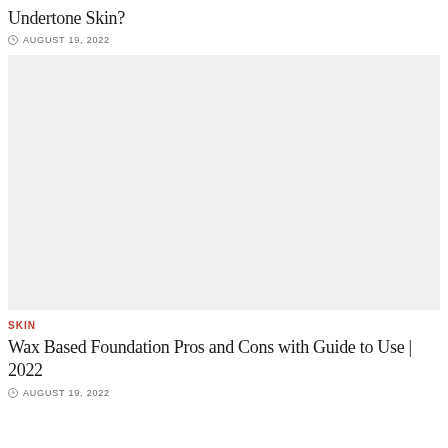Undertone Skin?
AUGUST 19, 2022
[Figure (photo): Large placeholder image with light gray background]
SKIN
Wax Based Foundation Pros and Cons with Guide to Use | 2022
AUGUST 19, 2022